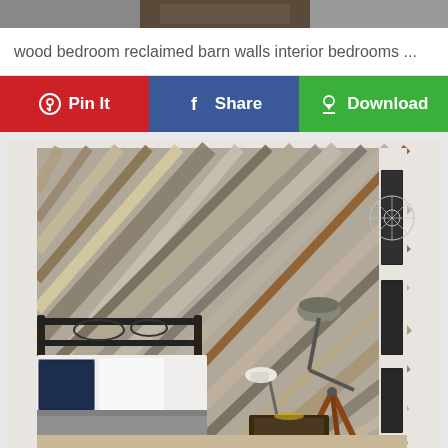[Figure (photo): Top cropped portion of a bedroom photo with reclaimed barn wood wall]
wood bedroom reclaimed barn walls interior bedrooms ...
[Figure (infographic): Three social sharing buttons: Pin It (red, Pinterest), Share (blue, Facebook), Download (green)]
[Figure (photo): Bedroom interior with diagonal reclaimed barn wood accent wall in grey/brown tones, black iron bed frame with white bedding and navy pillows, tripod floor lamp with industrial metal shade, small side table, framed wall art on right side]